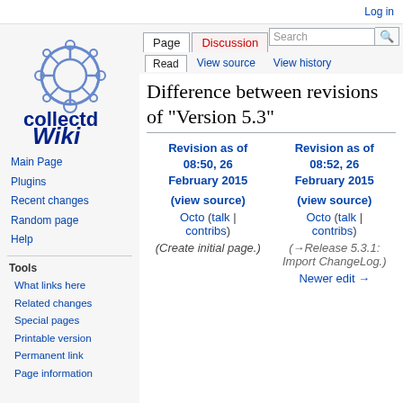Log in
[Figure (logo): collectd Wiki logo with gear/network node icon in blue]
Page | Discussion | Read | View source | View history | Search
Difference between revisions of "Version 5.3"
Main Page
Plugins
Recent changes
Random page
Help
Tools
What links here
Related changes
Special pages
Printable version
Permanent link
Page information
| Revision as of 08:50, 26 February 2015 | Revision as of 08:52, 26 February 2015 |
| --- | --- |
| (view source) | (view source) |
| Octo (talk | contribs) | Octo (talk | contribs) |
| (Create initial page.) | (→Release 5.3.1: Import ChangeLog.) |
|  | Newer edit → |